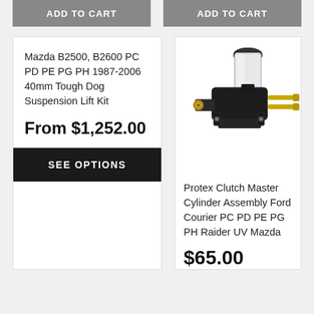ADD TO CART
ADD TO CART
Mazda B2500, B2600 PC PD PE PG PH 1987-2006 40mm Tough Dog Suspension Lift Kit
From $1,252.00
SEE OPTIONS
[Figure (photo): Photo of a Protex Clutch Master Cylinder Assembly, a black metal hydraulic component with brass fittings and a white/translucent reservoir on top]
Protex Clutch Master Cylinder Assembly Ford Courier PC PD PE PG PH Raider UV Mazda
$65.00